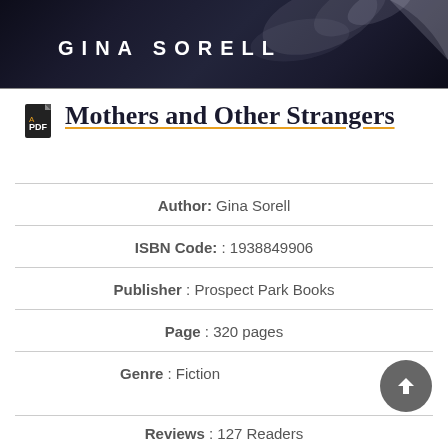[Figure (photo): Book cover image showing dark smoky background with author name GINA SORELL in white bold letters]
Mothers and Other Strangers
Author: Gina Sorell
ISBN Code: : 1938849906
Publisher : Prospect Park Books
Page : 320 pages
Genre : Fiction
Reviews : 127 Readers